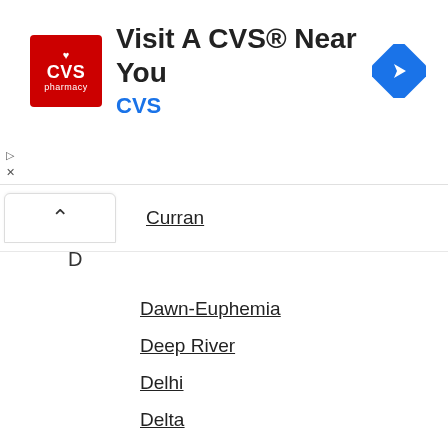[Figure (logo): CVS Pharmacy advertisement banner with logo, title 'Visit A CVS® Near You', brand name 'CVS', and a navigation/directions icon]
Curran
D
Dawn-Euphemia
Deep River
Delhi
Delta
Dorchester
Dorset
Douro-Dummer
Dowling
Drayton
Dresden